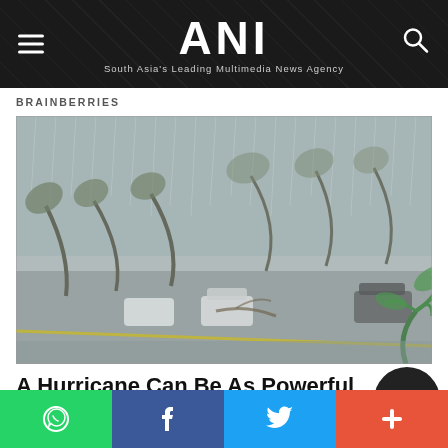ANI — South Asia's Leading Multimedia News Agency
BRAINBERRIES
[Figure (photo): Aerial view of a parking lot and road with cars during a severe hurricane or typhoon. Palm trees and other trees are violently bending in the strong winds. Heavy rain and wind create a misty, grey atmosphere. A green palm frond is visible in the foreground bottom-right.]
A Hurricane Can Be As Powerful As 10 Atom Bombs